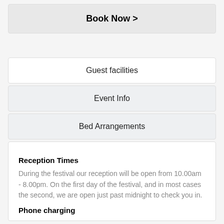Book Now >
Guest facilities
Event Info
Bed Arrangements
Reception Times
During the festival our reception will be open from 10.00am - 8.00pm. On the first day of the festival, and in most cases the second, we are open just past midnight to check you in.
Phone charging